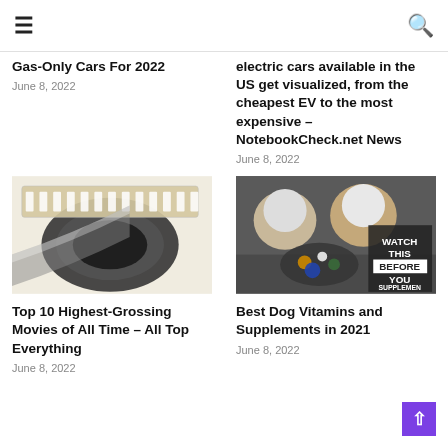☰  🔍
Gas-Only Cars For 2022
June 8, 2022
electric cars available in the US get visualized, from the cheapest EV to the most expensive – NotebookCheck.net News
June 8, 2022
[Figure (photo): Film strip rolled up on white background]
[Figure (photo): Two husky dogs with supplements tray and text WATCH THIS BEFORE YOU SUPPLEMEN]
Top 10 Highest-Grossing Movies of All Time – All Top Everything
June 8, 2022
Best Dog Vitamins and Supplements in 2021
June 8, 2022